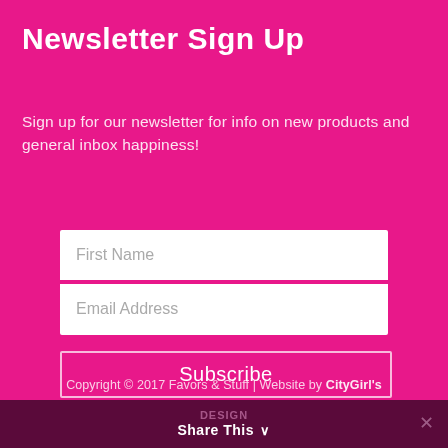Newsletter Sign Up
Sign up for our newsletter for info on new products and general inbox happiness!
First Name
Email Address
Subscribe
Copyright © 2017 Favors & Stuff | Website by CityGirl's
Design
Share This ∨